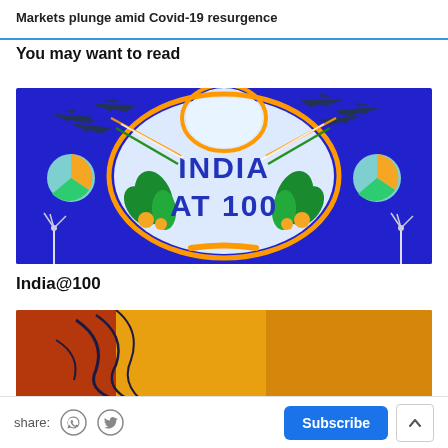Markets plunge amid Covid-19 resurgence
You may want to read
[Figure (illustration): India at 100 promotional graphic: blue background with jet fighters in formation trailing Indian flag colors (saffron, white, green), central decorative arch with text 'INDIA AT 100' in blue bold letters, pie chart icons and wind turbines on sides]
India@100
[Figure (photo): Partial image of a person with orange and yellow artistic rendering, partially visible at bottom of page]
share: [whatsapp icon] [twitter icon]  Subscribe  [up arrow]